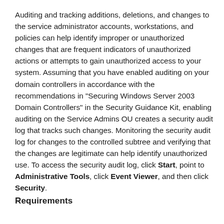Auditing and tracking additions, deletions, and changes to the service administrator accounts, workstations, and policies can help identify improper or unauthorized changes that are frequent indicators of unauthorized actions or attempts to gain unauthorized access to your system. Assuming that you have enabled auditing on your domain controllers in accordance with the recommendations in "Securing Windows Server 2003 Domain Controllers" in the Security Guidance Kit, enabling auditing on the Service Admins OU creates a security audit log that tracks such changes. Monitoring the security audit log for changes to the controlled subtree and verifying that the changes are legitimate can help identify unauthorized use. To access the security audit log, click Start, point to Administrative Tools, click Event Viewer, and then click Security.
Requirements